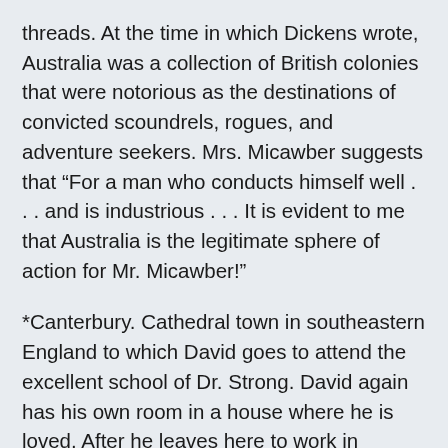threads. At the time in which Dickens wrote, Australia was a collection of British colonies that were notorious as the destinations of convicted scoundrels, rogues, and adventure seekers. Mrs. Micawber suggests that “For a man who conducts himself well . . . and is industrious . . . It is evident to me that Australia is the legitimate sphere of action for Mr. Micawber!”
*Canterbury. Cathedral town in southeastern England to which David goes to attend the excellent school of Dr. Strong. David again has his own room in a house where he is loved. After he leaves here to work in London, he is troubled to hear that Uriah Heep, who is in control of the Wickfields, has taken David’s old